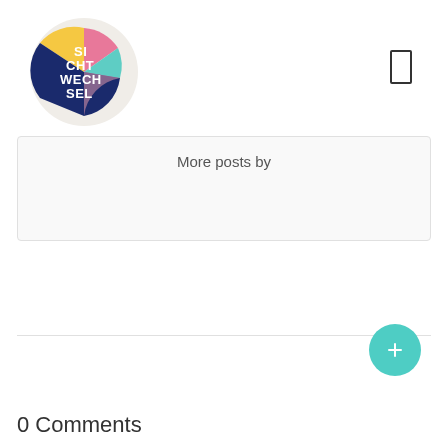[Figure (logo): Circular logo with colorful segments (teal, pink, yellow, dark blue) and white text reading SI CHT WECH SEL]
[Figure (other): Hamburger/menu icon - a rectangular outline]
More posts by
[Figure (other): Teal circular button with a small icon in center]
0 Comments